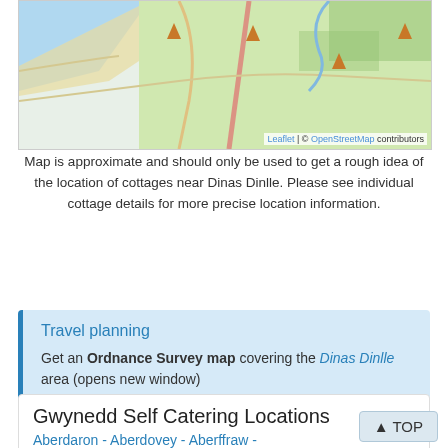[Figure (map): OpenStreetMap showing coastal area near Dinas Dinlle with location markers (orange triangles). Roads, coastline, and greenery visible. Attribution: Leaflet | © OpenStreetMap contributors]
Map is approximate and should only be used to get a rough idea of the location of cottages near Dinas Dinlle. Please see individual cottage details for more precise location information.
Travel planning
Get an Ordnance Survey map covering the Dinas Dinlle area (opens new window)
Gwynedd Self Catering Locations
Aberdaron - Aberdovey - Aberffraw -